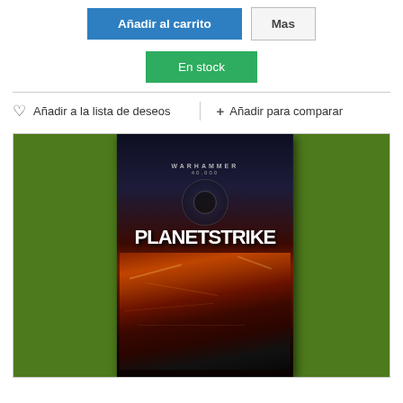[Figure (screenshot): E-commerce product page showing buttons: 'Añadir al carrito' (blue), 'Mas' (grey), 'En stock' (green), wishlist and compare links, and a product photo of Warhammer 40K Planetstrike book.]
Añadir al carrito
Mas
En stock
♡  Añadir a la lista de deseos
+ Añadir para comparar
[Figure (photo): Photo of Warhammer 40,000 Planetstrike book on green surface. Book has dark blue/black cover with 'WARHAMMER' and '40,000' text, large white 'PLANETSTRIKE' title, and battle scene artwork below.]